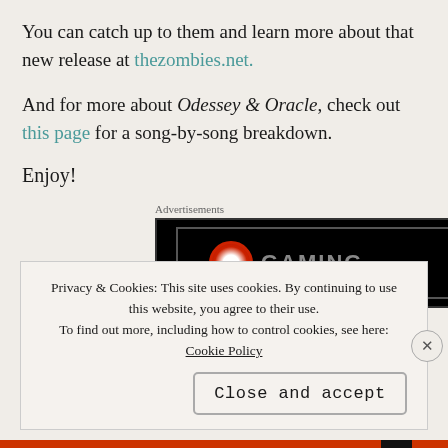You can catch up to them and learn more about that new release at thezombies.net.
And for more about Odessey & Oracle, check out this page for a song-by-song breakdown.
Enjoy!
[Figure (other): Advertisement banner with black background and red play button icon]
Privacy & Cookies: This site uses cookies. By continuing to use this website, you agree to their use. To find out more, including how to control cookies, see here: Cookie Policy
Close and accept